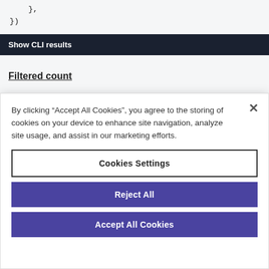},
})
Show CLI results
Filtered count
By clicking “Accept All Cookies”, you agree to the storing of cookies on your device to enhance site navigation, analyze site usage, and assist in our marketing efforts.
Cookies Settings
Reject All
Accept All Cookies